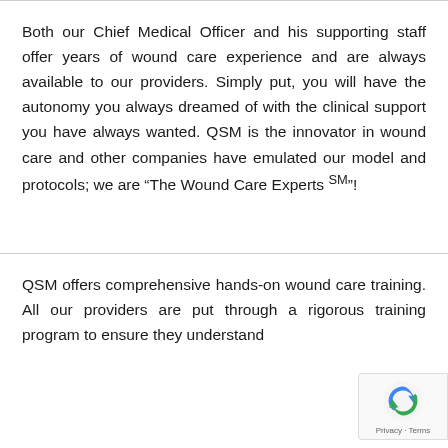Both our Chief Medical Officer and his supporting staff offer years of wound care experience and are always available to our providers. Simply put, you will have the autonomy you always dreamed of with the clinical support you have always wanted. QSM is the innovator in wound care and other companies have emulated our model and protocols; we are “The Wound Care Experts ˢᴹᴹ”!
QSM offers comprehensive hands-on wound care training. All our providers are put through a rigorous training program to ensure they understand